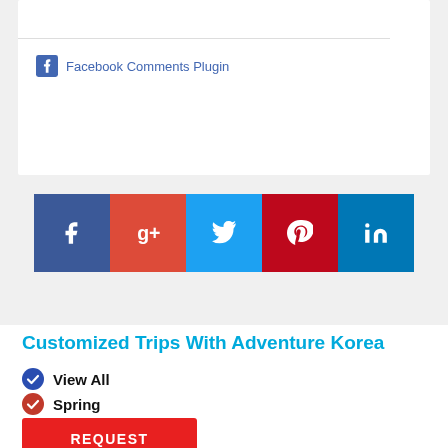[Figure (screenshot): Facebook Comments Plugin logo and text]
[Figure (infographic): Social share buttons: Facebook (f), Google+ (red), Twitter (bird), Pinterest (p), LinkedIn (in)]
Customized Trips With Adventure Korea
View All
Spring
Summer
Fall
Winter
REQUEST